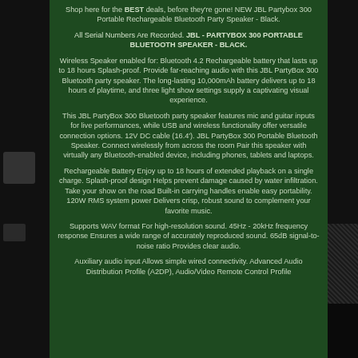Shop here for the BEST deals, before they're gone! NEW JBL Partybox 300 Portable Rechargeable Bluetooth Party Speaker - Black.
All Serial Numbers Are Recorded. JBL - PARTYBOX 300 PORTABLE BLUETOOTH SPEAKER - BLACK.
Wireless Speaker enabled for: Bluetooth 4.2 Rechargeable battery that lasts up to 18 hours Splash-proof. Provide far-reaching audio with this JBL PartyBox 300 Bluetooth party speaker. The long-lasting 10,000mAh battery delivers up to 18 hours of playtime, and three light show settings supply a captivating visual experience.
This JBL PartyBox 300 Bluetooth party speaker features mic and guitar inputs for live performances, while USB and wireless functionality offer versatile connection options. 12V DC cable (16.4'). JBL PartyBox 300 Portable Bluetooth Speaker. Connect wirelessly from across the room Pair this speaker with virtually any Bluetooth-enabled device, including phones, tablets and laptops.
Rechargeable Battery Enjoy up to 18 hours of extended playback on a single charge. Splash-proof design Helps prevent damage caused by water infiltration. Take your show on the road Built-in carrying handles enable easy portability. 120W RMS system power Delivers crisp, robust sound to complement your favorite music.
Supports WAV format For high-resolution sound. 45Hz - 20kHz frequency response Ensures a wide range of accurately reproduced sound. 65dB signal-to-noise ratio Provides clear audio.
Auxiliary audio input Allows simple wired connectivity. Advanced Audio Distribution Profile (A2DP), Audio/Video Remote Control Profile